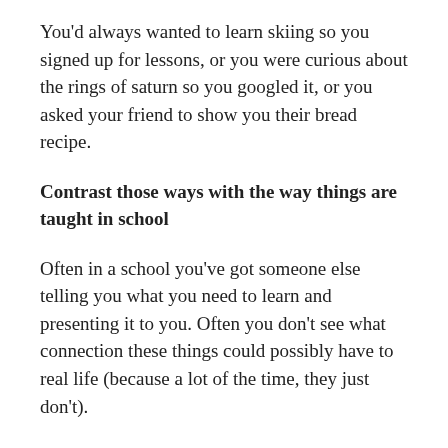You'd always wanted to learn skiing so you signed up for lessons, or you were curious about the rings of saturn so you googled it, or you asked your friend to show you their bread recipe.
Contrast those ways with the way things are taught in school
Often in a school you've got someone else telling you what you need to learn and presenting it to you. Often you don't see what connection these things could possibly have to real life (because a lot of the time, they just don't).
In adulthood, have you ever been in a situation where someone had decided you needed to know something even though you didn't care